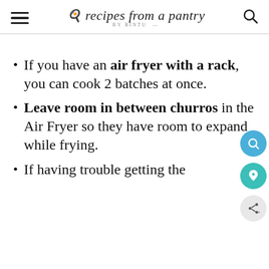recipes from a pantry BY BINTU
If you have an air fryer with a rack, you can cook 2 batches at once.
Leave room in between churros in the Air Fryer so they have room to expand while frying.
If having trouble getting the